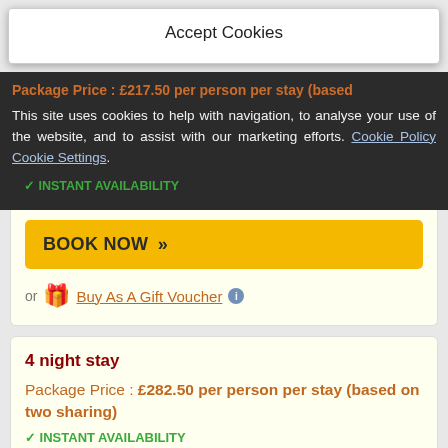Accept Cookies
Package Price : £217.50 per person per stay (based
This site uses cookies to help with navigation, to analyse your use of the website, and to assist with our marketing efforts. Cookie Policy Cookie Settings.
✓ INSTANT AVAILABILITY
Saturday night premium of £10 per person will apply
BOOK NOW »
or  Buy As A Gift Voucher
4 night stay
Package Price : £282.50 per person per stay (based on two sharing)
✓ INSTANT AVAILABILITY